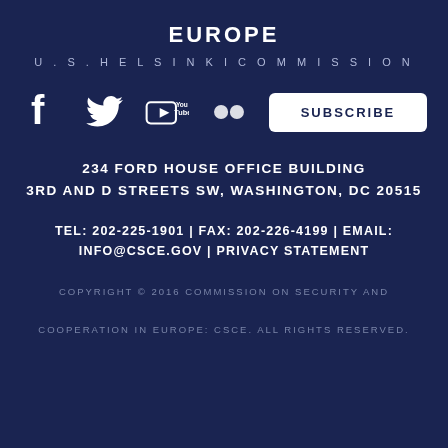EUROPE
U. S. HELSINKI COMMISSION
[Figure (infographic): Social media icons: Facebook, Twitter, YouTube, Flickr, and a SUBSCRIBE button]
234 FORD HOUSE OFFICE BUILDING
3RD AND D STREETS SW, WASHINGTON, DC 20515
TEL: 202-225-1901 | FAX: 202-226-4199 | EMAIL: INFO@CSCE.GOV | PRIVACY STATEMENT
COPYRIGHT © 2016 COMMISSION ON SECURITY AND
COOPERATION IN EUROPE: CSCE. ALL RIGHTS RESERVED.